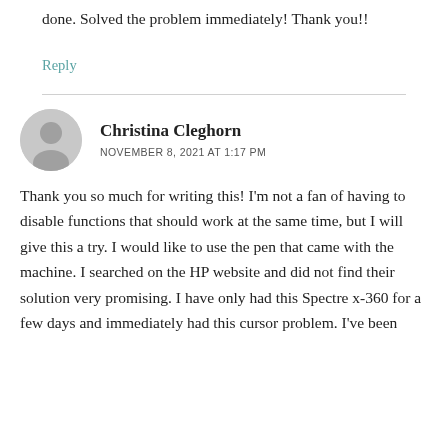done. Solved the problem immediately! Thank you!!
Reply
Christina Cleghorn
NOVEMBER 8, 2021 AT 1:17 PM
Thank you so much for writing this! I'm not a fan of having to disable functions that should work at the same time, but I will give this a try. I would like to use the pen that came with the machine. I searched on the HP website and did not find their solution very promising. I have only had this Spectre x-360 for a few days and immediately had this cursor problem. I've been